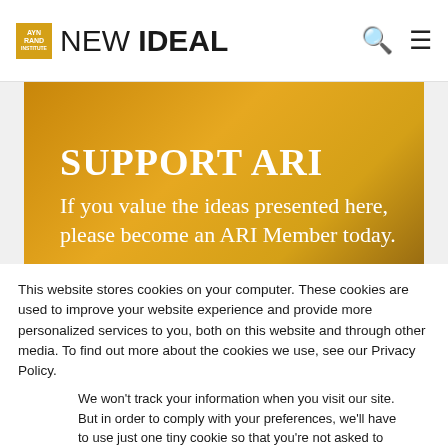NEW IDEAL
[Figure (screenshot): Gold/amber gradient banner with white serif text reading 'SUPPORT ARI' and subtitle 'If you value the ideas presented here, please become an ARI Member today.' with a white button partially visible at the bottom.]
This website stores cookies on your computer. These cookies are used to improve your website experience and provide more personalized services to you, both on this website and through other media. To find out more about the cookies we use, see our Privacy Policy.
We won't track your information when you visit our site. But in order to comply with your preferences, we'll have to use just one tiny cookie so that you're not asked to make this choice again.